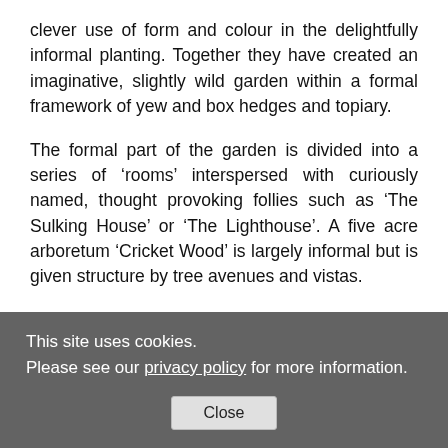clever use of form and colour in the delightfully informal planting. Together they have created an imaginative, slightly wild garden within a formal framework of yew and box hedges and topiary.
The formal part of the garden is divided into a series of ‘rooms’ interspersed with curiously named, thought provoking follies such as ‘The Sulking House’ or ‘The Lighthouse’. A five acre arboretum ‘Cricket Wood’ is largely informal but is given structure by tree avenues and vistas.
While Simon explained the history of the house his audience’s attention was slightly distracted by his latest water feature, a 45 metre long brick edged serpentine canal which meandered through heritage apple trees
This site uses cookies.
Please see our privacy policy for more information.